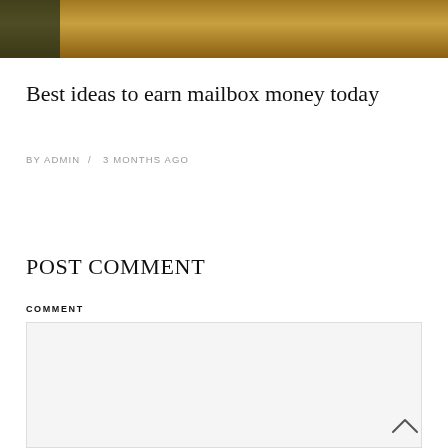[Figure (photo): Partial photo showing a golden/tan fabric or coat with a dark background, cropped at the top of the page]
Best ideas to earn mailbox money today
BY ADMIN / 3 MONTHS AGO
POST COMMENT
COMMENT